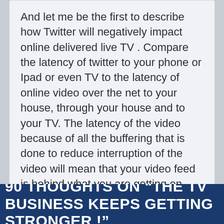And let me be the first to describe how Twitter will negatively impact online delivered live TV . Compare the latency of twitter to your phone or Ipad or even TV to the latency of online video over the net to your house, through your house and to your TV. The latency of the video because of all the buffering that is done to reduce interruption of the video will mean that your video feed is behind what you are getting on twitter. Not a problem for ondemand,but not good for communal experiences. So if you all want to watch SharkTank and tweet and FB about it with your friends, its only going to work when you watch on a regular tv feed.
Thats the way I see. Let me know what you think
90 THOUGHTS ON "THE TV BUSINESS KEEPS GETTING STRONGER !"